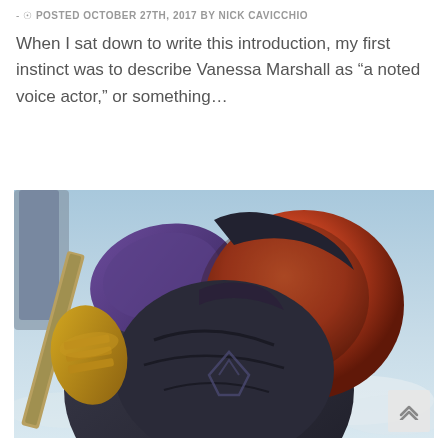POSTED OCTOBER 27TH, 2017 BY NICK CAVICCHIO
When I sat down to write this introduction, my first instinct was to describe Vanessa Marshall as “a noted voice actor,” or something…
[Figure (screenshot): Screenshot of an animated character in armored suit with a large red and dark helmet/chest piece, holding a weapon, against a blue sky background. Appears to be from a video game (Star Wars Rebels or similar).]